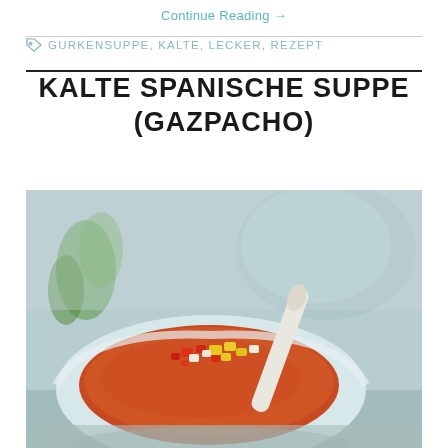Continue Reading →
GURKENSUPPE, KALTE, LECKER, REZEPT
KALTE SPANISCHE SUPPE (GAZPACHO)
[Figure (photo): A bowl of gazpacho cold Spanish soup with diced vegetables (red pepper, yellow pepper, onion) as garnish and a spoon, with a light blue ceramic bowl and green herb garnish in the background.]